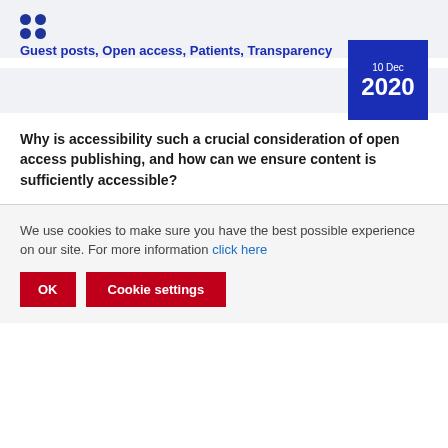[Figure (logo): Four circles arranged in a 2x2 grid, dark blue color]
Guest posts, Open access, Patients, Transparency
10 Dec 2020
Why is accessibility such a crucial consideration of open access publishing, and how can we ensure content is sufficiently accessible?
We use cookies to make sure you have the best possible experience on our site. For more information click here
OK  Cookie settings